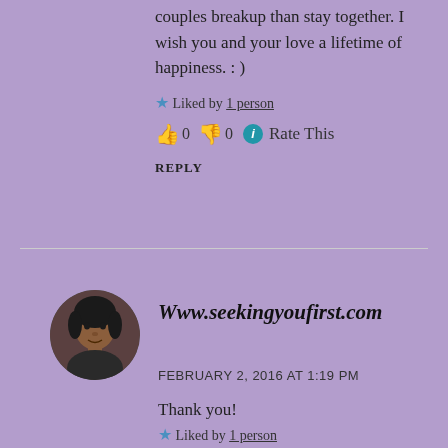couples breakup than stay together. I wish you and your love a lifetime of happiness. : )
★ Liked by 1 person
👍 0 👎 0 ℹ Rate This
REPLY
[Figure (photo): Circular avatar photo of a woman with short hair against a dark background]
Www.seekingyoufirst.com
FEBRUARY 2, 2016 AT 1:19 PM
Thank you!
★ Liked by 1 person